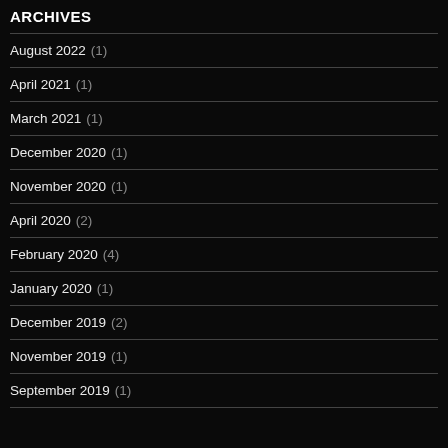ARCHIVES
August 2022 (1)
April 2021 (1)
March 2021 (1)
December 2020 (1)
November 2020 (1)
April 2020 (2)
February 2020 (4)
January 2020 (1)
December 2019 (2)
November 2019 (1)
September 2019 (1)